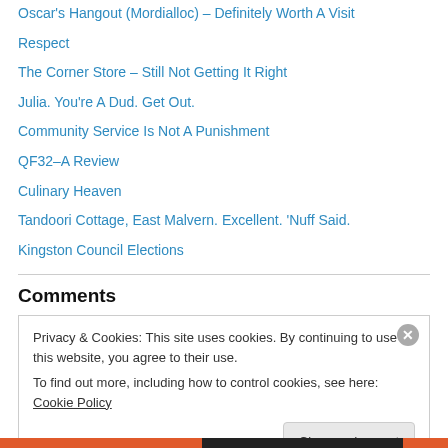Oscar's Hangout (Mordialloc) – Definitely Worth A Visit
Respect
The Corner Store – Still Not Getting It Right
Julia. You're A Dud. Get Out.
Community Service Is Not A Punishment
QF32–A Review
Culinary Heaven
Tandoori Cottage, East Malvern. Excellent. 'Nuff Said.
Kingston Council Elections
Comments
Privacy & Cookies: This site uses cookies. By continuing to use this website, you agree to their use. To find out more, including how to control cookies, see here: Cookie Policy